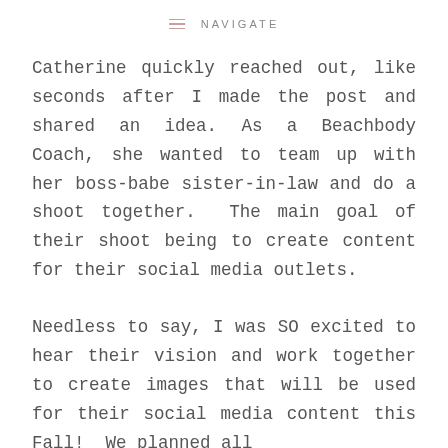NAVIGATE
Catherine quickly reached out, like seconds after I made the post and shared an idea. As a Beachbody Coach, she wanted to team up with her boss-babe sister-in-law and do a shoot together. The main goal of their shoot being to create content for their social media outlets.
Needless to say, I was SO excited to hear their vision and work together to create images that will be used for their social media content this Fall! We planned all